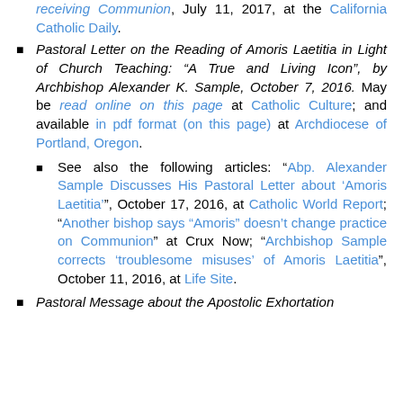receiving Communion, July 11, 2017, at the California Catholic Daily.
Pastoral Letter on the Reading of Amoris Laetitia in Light of Church Teaching: “A True and Living Icon”, by Archbishop Alexander K. Sample, October 7, 2016. May be read online on this page at Catholic Culture; and available in pdf format (on this page) at Archdiocese of Portland, Oregon.
See also the following articles: “Abp. Alexander Sample Discusses His Pastoral Letter about ‘Amoris Laetitia’”, October 17, 2016, at Catholic World Report; “Another bishop says “Amoris” doesn’t change practice on Communion” at Crux Now; “Archbishop Sample corrects ‘troublesome misuses’ of Amoris Laetitia”, October 11, 2016, at Life Site.
Pastoral Message about the Apostolic Exhortation